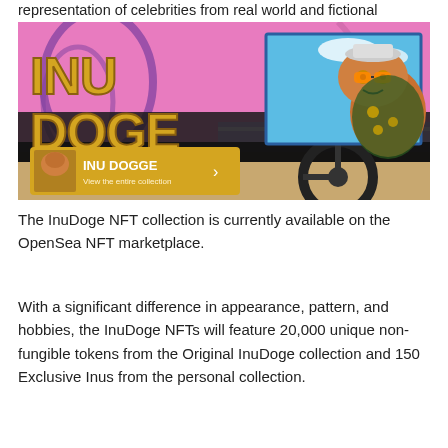representation of celebrities from real world and fictional characters.
[Figure (illustration): InuDoge NFT promotional banner showing a cartoon Shiba Inu dog character wearing a hat and Hawaiian shirt driving a car, with bold yellow 'INU DOGE' text on a pink/purple background. A smaller inset shows the same character, with a golden banner reading 'INU DOGGE' and 'View the entire collection'.]
The InuDoge NFT collection is currently available on the OpenSea NFT marketplace.
With a significant difference in appearance, pattern, and hobbies, the InuDoge NFTs will feature 20,000 unique non-fungible tokens from the Original InuDoge collection and 150 Exclusive Inus from the personal collection.